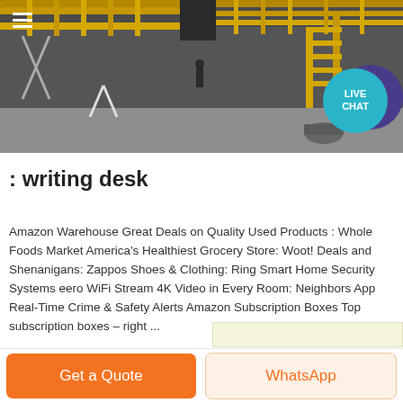[Figure (photo): Interior of an industrial warehouse with yellow metal scaffolding and staircases, concrete floor, dark overhead structure. A teal 'LIVE CHAT' bubble appears in the upper right, and a purple circle partially behind it. A hamburger menu icon is visible at top left.]
: writing desk
Amazon Warehouse Great Deals on Quality Used Products : Whole Foods Market America’s Healthiest Grocery Store: Woot! Deals and Shenanigans: Zappos Shoes & Clothing: Ring Smart Home Security Systems eero WiFi Stream 4K Video in Every Room: Neighbors App Real-Time Crime & Safety Alerts Amazon Subscription Boxes Top subscription boxes – right ...
Get a Quote
WhatsApp